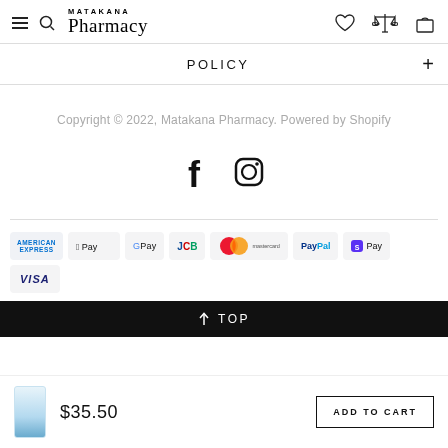MATAKANA Pharmacy
POLICY
Copyright © 2022, Matakana Pharmacy. Powered by Shopify
[Figure (illustration): Social media icons: Facebook (f) and Instagram (camera circle)]
[Figure (illustration): Payment method badges: American Express, Apple Pay, Google Pay, JCB, Mastercard, PayPal, Shop Pay, Visa]
↑ TOP
$35.50
ADD TO CART